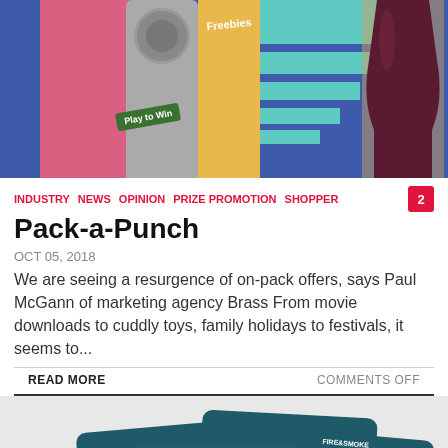[Figure (illustration): Colorful illustrated banner showing promotional product packaging including a can, yellow stripe with 'Play to Win' label, teal striped bars, 'Freebies' text, a cola glass silhouette, and a pink background element]
INDUSTRY  NEWS  OPINION  PRIZE PROMOTION  SHOPPER
Pack-a-Punch
OCT 05, 2018
We are seeing a resurgence of on-pack offers, says Paul McGann of marketing agency Brass From movie downloads to cuddly toys, family holidays to festivals, it seems to...
READ MORE
COMMENTS OFF
[Figure (photo): Multiple Fire & Smoke branded deli meat packages arranged in an overlapping display, showing products with teal/dark packaging and orange fire-grilled labels]